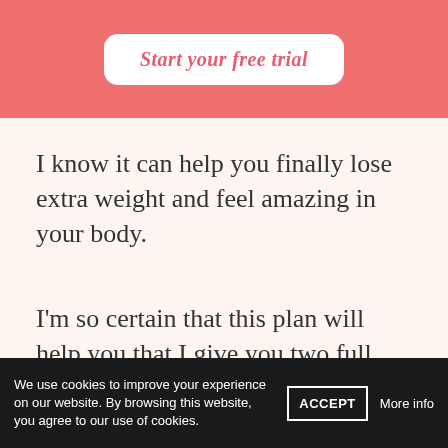Start your free trial
I know it can help you finally lose extra weight and feel amazing in your body.
I’m so certain that this plan will help you that I give you two full weeks to try it out for free. When your monthly subscription begins, it costs less than the price of a therapy visit.
We use cookies to improve your experience on our website. By browsing this website, you agree to our use of cookies. ACCEPT More info